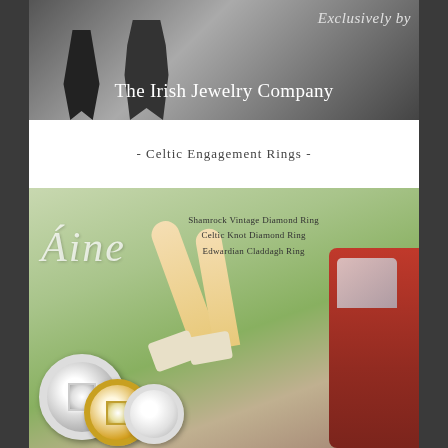[Figure (photo): Black and white photo of two figures in formal/traditional attire with overlaid text 'Exclusively by The Irish Jewelry Company']
Exclusively by The Irish Jewelry Company
- Celtic Engagement Rings -
[Figure (photo): Advertisement photo showing woman's legs out of a vintage red car window wearing sparkly heels, with 'Áine' text overlay, ring product images at bottom left, and ring product names listed: Shamrock Vintage Diamond Ring, Celtic Knot Diamond Ring, Edwardian Claddagh Ring]
Shamrock Vintage Diamond Ring
Celtic Knot Diamond Ring
Edwardian Claddagh Ring